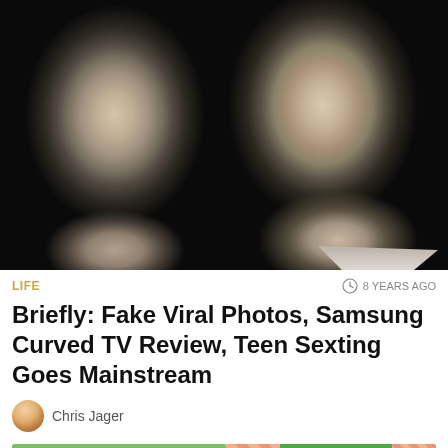[Figure (photo): Black and white photo of two young men facing the camera, side by side, against a dark background.]
LIFE
8 YEARS AGO
Briefly: Fake Viral Photos, Samsung Curved TV Review, Teen Sexting Goes Mainstream
Chris Jager
[Figure (other): Lifehacker advertisement banner — green background, 'lifehacker' logo on left, diagonal stripe divider, 'FOLLOW US ON TWITTER' text on right.]